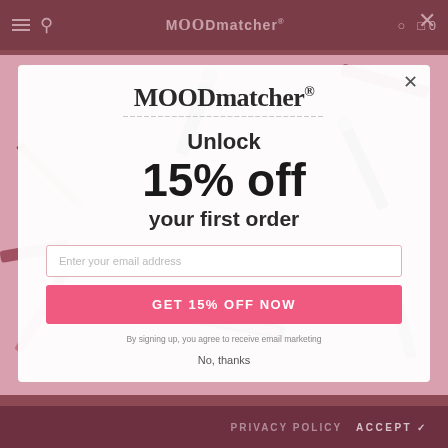MOODmatcher®
[Figure (screenshot): Modal popup on MOODmatcher website showing a promotional offer with cosmetics products in background]
MOODmatcher®
Unlock
15% off
your first order
Enter your email address
GET 15% OFF NOW
By signing up, you agree to receive email marketing
No, thanks
PRIVACY POLICY   ACCEPT ✔